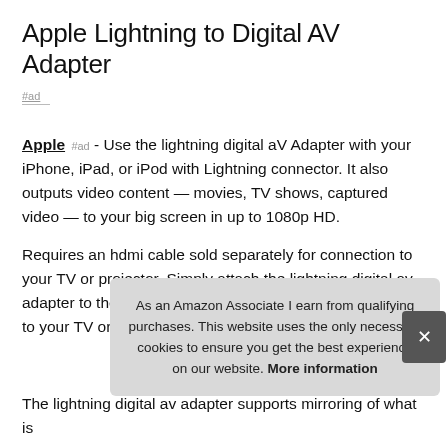Apple Lightning to Digital AV Adapter
#ad
Apple #ad - Use the lightning digital aV Adapter with your iPhone, iPad, or iPod with Lightning connector. It also outputs video content — movies, TV shows, captured video — to your big screen in up to 1080p HD.
Requires an hdmi cable sold separately for connection to your TV or projector. Simply attach the lightning digital av adapter to the lightning connector on your device and then to your TV or projector.
As an Amazon Associate I earn from qualifying purchases. This website uses the only necessary cookies to ensure you get the best experience on our website. More information
The lightning digital av adapter supports mirroring of what is